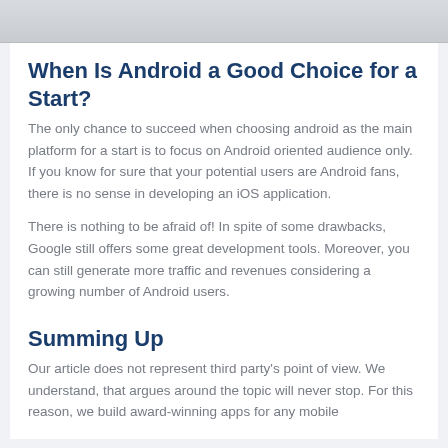[Figure (photo): Partial image strip at the top of the page, appears to show white objects against a light background]
When Is Android a Good Choice for a Start?
The only chance to succeed when choosing android as the main platform for a start is to focus on Android oriented audience only. If you know for sure that your potential users are Android fans, there is no sense in developing an iOS application.
There is nothing to be afraid of! In spite of some drawbacks, Google still offers some great development tools. Moreover, you can still generate more traffic and revenues considering a growing number of Android users.
Summing Up
Our article does not represent third party's point of view. We understand, that argues around the topic will never stop. For this reason, we build award-winning apps for any mobile